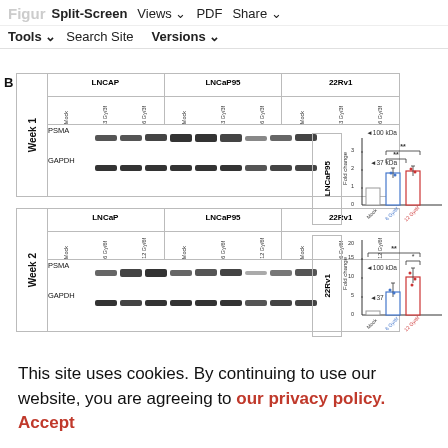Figure  Split-Screen  Views  PDF  Share  Tools  Search Site  Versions
[Figure (photo): Western blot panel B showing PSMA and GAPDH protein bands for LNCaP, LNCaP95, and 22Rv1 cell lines at Week 1 (Mock, 3Gy/3f, 6Gy/3f) and Week 2 (Mock, 6Gy/6f, 12Gy/6f) with molecular weight markers 100 kDa and 37 kDa]
[Figure (bar-chart): LNCaP95 Fold change]
[Figure (bar-chart): 22Rv1 Fold change]
This site uses cookies. By continuing to use our website, you are agreeing to our privacy policy. Accept